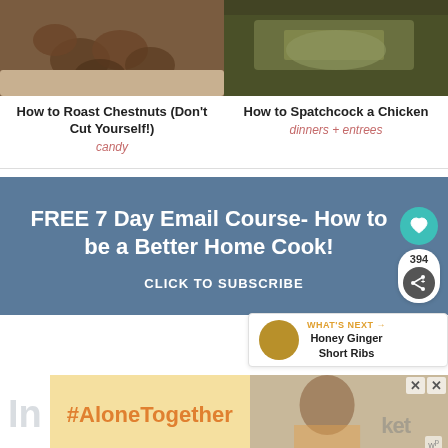[Figure (photo): Photo of chestnuts on a plate with a spoon]
How to Roast Chestnuts (Don't Cut Yourself!)
candy
[Figure (photo): Photo of spatchcocked chicken on a tray]
How to Spatchcock a Chicken
dinners + entrees
FREE 7 Day Email Course- How to be a Better Home Cook!
CLICK TO SUBSCRIBE
394
WHAT'S NEXT → Honey Ginger Short Ribs
[Figure (infographic): #AloneTogether promotional banner in yellow]
[Figure (photo): Woman in kitchen with advertisement overlay]